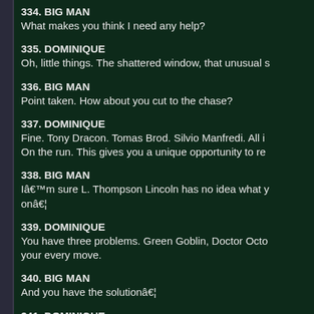334. BIG MAN
What makes you think I need any help?
335. DOMINIQUE
Oh, little things. The shattered window, that unusual s
336. BIG MAN
Point taken. How about you cut to the chase?
337. DOMINIQUE
Fine. Tony Dracon. Tomas Brod. Silvio Manfredi. All i
On the run. This gives you a unique opportunity to re
338. BIG MAN
I’m sure L. Thompson Lincoln has no idea what y
on…
339. DOMINIQUE
You have three problems. Green Goblin, Doctor Octo
your every move.
340. BIG MAN
And you have the solution…
341. DOMINIQUE